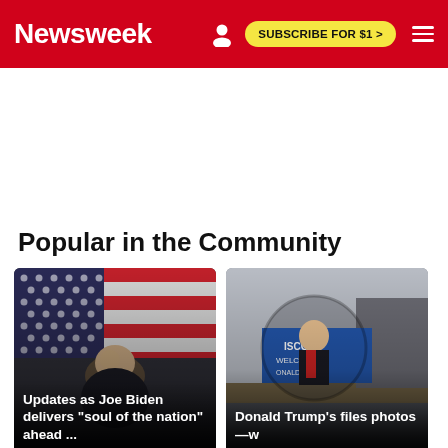Newsweek
[Figure (photo): Biden speaking in front of US flag]
Updates as Joe Biden delivers "soul of the nation" ahead ...
[Figure (photo): Donald Trump at Wisconsin welcome event]
Donald Trump's files photos—w
Popular in the Community